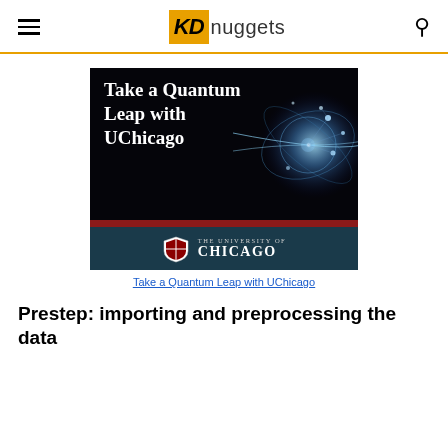KD nuggets
[Figure (illustration): Advertisement: 'Take a Quantum Leap with UChicago' — dark background with glowing quantum/network visualization on the right, white serif text on the left, red bar separator, The University of Chicago logo and name on dark teal background at bottom]
Take a Quantum Leap with UChicago
Prestep: importing and preprocessing the data